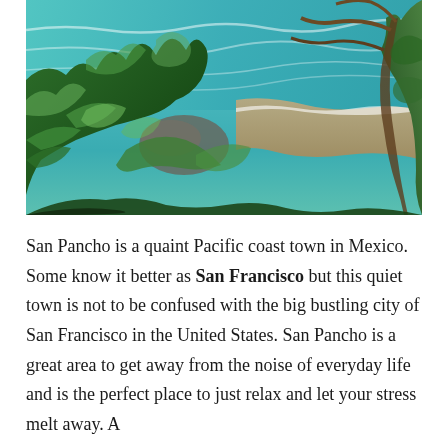[Figure (photo): View from a lush jungle hillside overlooking a turquoise Pacific ocean beach with waves, tropical foliage and trees in the foreground, and a sandy cove visible below.]
San Pancho is a quaint Pacific coast town in Mexico. Some know it better as San Francisco but this quiet town is not to be confused with the big bustling city of San Francisco in the United States. San Pancho is a great area to get away from the noise of everyday life and is the perfect place to just relax and let your stress melt away. A